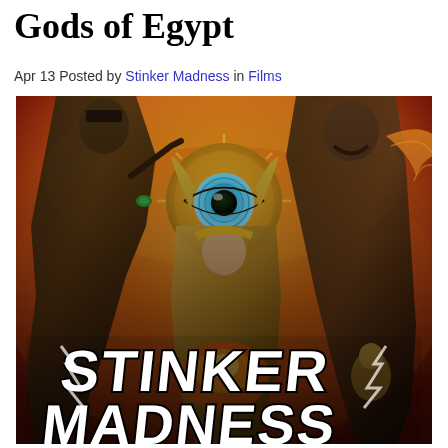Gods of Egypt
Apr 13 Posted by Stinker Madness in Films
[Figure (photo): Movie poster for Gods of Egypt overlaid with 'STINKER MADNESS' logo. Shows fantasy movie characters including two male warriors and a female character in Egyptian-fantasy costumes against a fiery orange sky background with a large stylized eye in the center.]